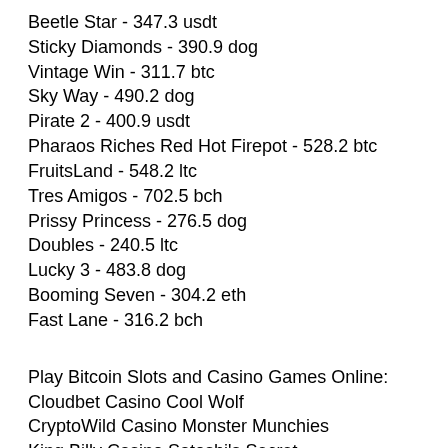Beetle Star - 347.3 usdt
Sticky Diamonds - 390.9 dog
Vintage Win - 311.7 btc
Sky Way - 490.2 dog
Pirate 2 - 400.9 usdt
Pharaos Riches Red Hot Firepot - 528.2 btc
FruitsLand - 548.2 ltc
Tres Amigos - 702.5 bch
Prissy Princess - 276.5 dog
Doubles - 240.5 ltc
Lucky 3 - 483.8 dog
Booming Seven - 304.2 eth
Fast Lane - 316.2 bch
Play Bitcoin Slots and Casino Games Online:
Cloudbet Casino Cool Wolf
CryptoWild Casino Monster Munchies
King Billy Casino Satoshi's Secret
Mars Casino Sugar Rush Winter
Syndicate Casino Game Gone Wild